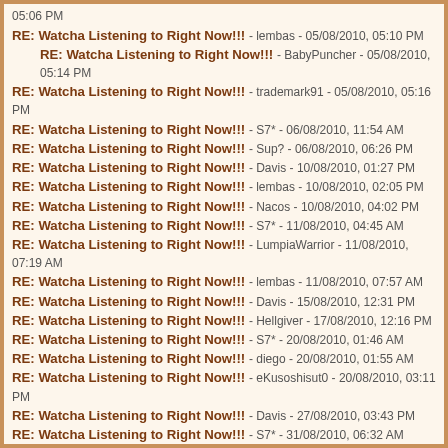05:06 PM
RE: Watcha Listening to Right Now!!! - lembas - 05/08/2010, 05:10 PM
RE: Watcha Listening to Right Now!!! - BabyPuncher - 05/08/2010, 05:14 PM
RE: Watcha Listening to Right Now!!! - trademark91 - 05/08/2010, 05:16 PM
RE: Watcha Listening to Right Now!!! - S7* - 06/08/2010, 11:54 AM
RE: Watcha Listening to Right Now!!! - Sup? - 06/08/2010, 06:26 PM
RE: Watcha Listening to Right Now!!! - Davis - 10/08/2010, 01:27 PM
RE: Watcha Listening to Right Now!!! - lembas - 10/08/2010, 02:05 PM
RE: Watcha Listening to Right Now!!! - Nacos - 10/08/2010, 04:02 PM
RE: Watcha Listening to Right Now!!! - S7* - 11/08/2010, 04:45 AM
RE: Watcha Listening to Right Now!!! - LumpiaWarrior - 11/08/2010, 07:19 AM
RE: Watcha Listening to Right Now!!! - lembas - 11/08/2010, 07:57 AM
RE: Watcha Listening to Right Now!!! - Davis - 15/08/2010, 12:31 PM
RE: Watcha Listening to Right Now!!! - Hellgiver - 17/08/2010, 12:16 PM
RE: Watcha Listening to Right Now!!! - S7* - 20/08/2010, 01:46 AM
RE: Watcha Listening to Right Now!!! - diego - 20/08/2010, 01:55 AM
RE: Watcha Listening to Right Now!!! - eKusoshisut0 - 20/08/2010, 03:11 PM
RE: Watcha Listening to Right Now!!! - Davis - 27/08/2010, 03:43 PM
RE: Watcha Listening to Right Now!!! - S7* - 31/08/2010, 06:32 AM
RE: Watcha Listening to Right Now!!! - Davis - 05/09/2010, 09:31 AM